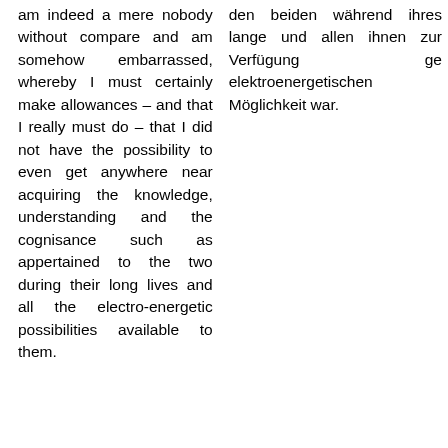am indeed a mere nobody without compare and am somehow embarrassed, whereby I must certainly make allowances – and that I really must do – that I did not have the possibility to even get anywhere near acquiring the knowledge, understanding and the cognisance such as appertained to the two during their long lives and all the electro-energetic possibilities available to them.
den beiden während ihres lange und allen ihnen zur Verfügung ge elektroenergetischen Möglichkeit war.